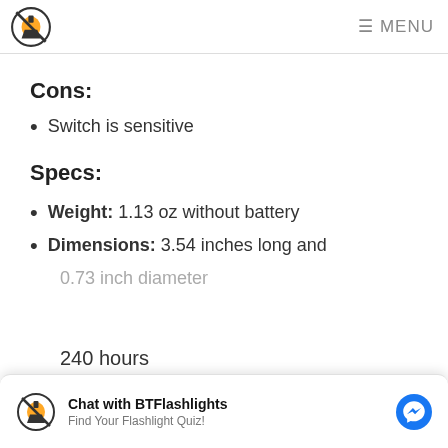BTFlashlights Logo | MENU
Cons:
Switch is sensitive
Specs:
Weight: 1.13 oz without battery
Dimensions: 3.54 inches long and 0.73 inch diameter
240 hours
Chat with BTFlashlights
Find Your Flashlight Quiz!